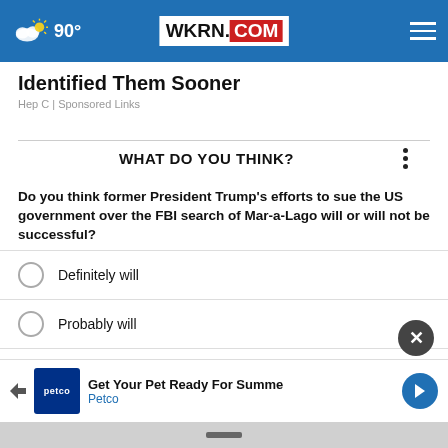WKRN.COM | 90°
Identified Them Sooner
Hep C | Sponsored Links
WHAT DO YOU THINK?
Do you think former President Trump's efforts to sue the US government over the FBI search of Mar-a-Lago will or will not be successful?
Definitely will
Probably will
Probably will not
Definitely will not
[Figure (screenshot): Petco advertisement banner: Get Your Pet Ready For Summer - Petco]